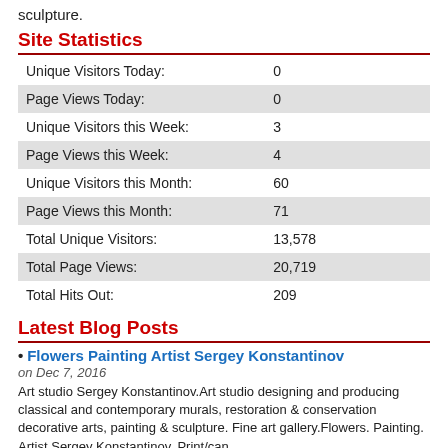sculpture.
Site Statistics
|  |  |
| --- | --- |
| Unique Visitors Today: | 0 |
| Page Views Today: | 0 |
| Unique Visitors this Week: | 3 |
| Page Views this Week: | 4 |
| Unique Visitors this Month: | 60 |
| Page Views this Month: | 71 |
| Total Unique Visitors: | 13,578 |
| Total Page Views: | 20,719 |
| Total Hits Out: | 209 |
Latest Blog Posts
Flowers Painting Artist Sergey Konstantinov
on Dec 7, 2016
Art studio Sergey Konstantinov.Art studio designing and producing classical and contemporary murals, restoration & conservation decorative arts, painting & sculpture. Fine art gallery.Flowers. Painting. Artist Sergey Konstantinov. Print/can...